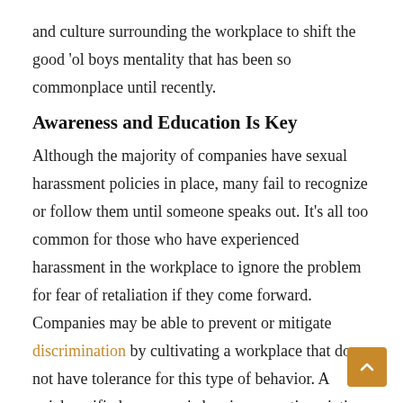and culture surrounding the workplace to shift the good 'ol boys mentality that has been so commonplace until recently.
Awareness and Education Is Key
Although the majority of companies have sexual harassment policies in place, many fail to recognize or follow them until someone speaks out. It's all too common for those who have experienced harassment in the workplace to ignore the problem for fear of retaliation if they come forward. Companies may be able to prevent or mitigate discrimination by cultivating a workplace that does not have tolerance for this type of behavior. A quick, unified response is key in supporting victims of sexual harassment. The following are important ways to support a safe and fair work environment for all employees following “Me Too:”
Ensure that the company has clear policies in place regarding sexual harassment and the steps the